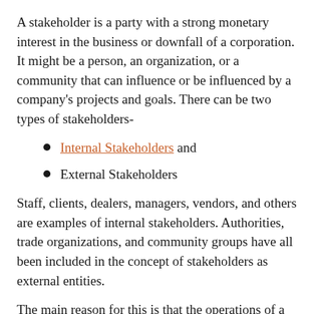A stakeholder is a party with a strong monetary interest in the business or downfall of a corporation. It might be a person, an organization, or a community that can influence or be influenced by a company's projects and goals. There can be two types of stakeholders-
Internal Stakeholders and
External Stakeholders
Staff, clients, dealers, managers, vendors, and others are examples of internal stakeholders. Authorities, trade organizations, and community groups have all been included in the concept of stakeholders as external entities.
The main reason for this is that the operations of a company can have a big impact on a vast number of